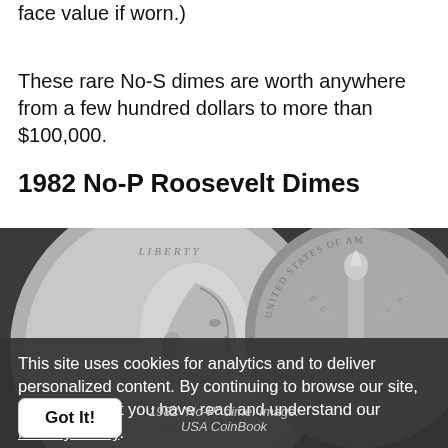face value if worn.)
These rare No-S dimes are worth anywhere from a few hundred dollars to more than $100,000.
1982 No-P Roosevelt Dimes
[Figure (photo): Two Roosevelt dimes side by side: obverse showing Liberty profile portrait on the left, reverse showing torch, olive branch, and oak branch with 'United States of America' text on the right. 1982 No-P dime. Image: USA CoinBook]
This site uses cookies for analytics and to deliver personalized content. By continuing to browse our site, you agree that you have read and understand our Privacy Policy.
1982 "No-P" dime. Image: USA CoinBook